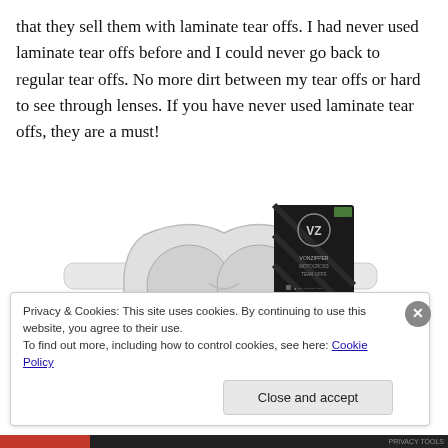that they sell them with laminate tear offs.  I had never used laminate tear offs before and I could never go back to regular tear offs.  No more dirt between my tear offs or hard to see through lenses.  If you have never used laminate tear offs, they are a must!
[Figure (photo): Photo of VonZipper motocross tear-offs goggle accessory product — white goggles with a dark branded packaging card showing the VZ logo and product details.]
Privacy & Cookies: This site uses cookies. By continuing to use this website, you agree to their use.
To find out more, including how to control cookies, see here: Cookie Policy
Close and accept